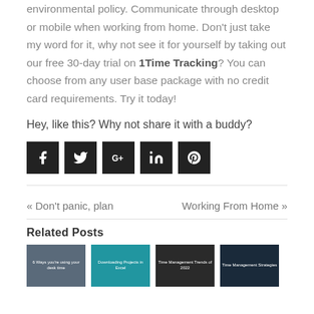environmental policy. Communicate through desktop or mobile when working from home. Don't just take my word for it, why not see it for yourself by taking out our free 30-day trial on 1Time Tracking? You can choose from any user base package with no credit card requirements. Try it today!
Hey, like this? Why not share it with a buddy?
[Figure (infographic): Social sharing icons: Facebook, Twitter, Google+, LinkedIn, Pinterest — each in a dark square button]
« Don't panic, plan
Working From Home »
Related Posts
[Figure (photo): Four related post thumbnail images in a row]